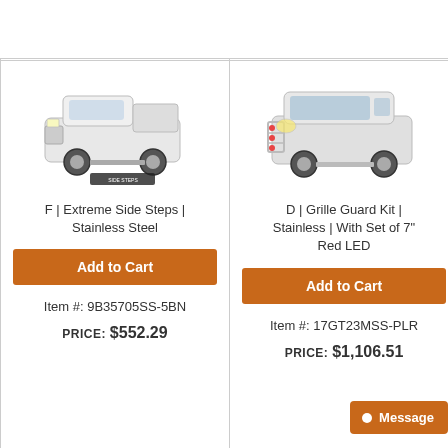[Figure (photo): White pickup truck with side steps, shown from front-left angle, with a small logo/watermark at bottom.]
F | Extreme Side Steps | Stainless Steel
Add to Cart
Item #: 9B35705SS-5BN
PRICE: $552.29
[Figure (photo): White SUV with grille guard kit mounted on front, shown from front-left angle.]
D | Grille Guard Kit | Stainless | With Set of 7" Red LED
Add to Cart
Item #: 17GT23MSS-PLR
PRICE: $1,106.51